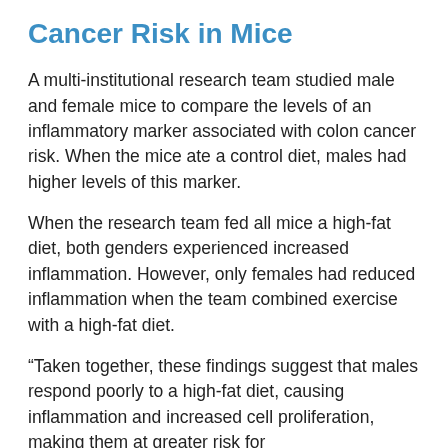Cancer Risk in Mice
A multi-institutional research team studied male and female mice to compare the levels of an inflammatory marker associated with colon cancer risk. When the mice ate a control diet, males had higher levels of this marker.
When the research team fed all mice a high-fat diet, both genders experienced increased inflammation. However, only females had reduced inflammation when the team combined exercise with a high-fat diet.
“Taken together, these findings suggest that males respond poorly to a high-fat diet, causing inflammation and increased cell proliferation, making them at greater risk for